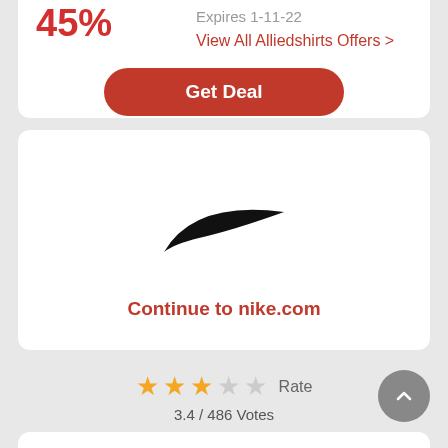45%
Expires 1-11-22
View All Alliedshirts Offers >
Get Deal
[Figure (logo): Nike swoosh logo, black on white background]
Continue to nike.com
3.4 / 486 Votes